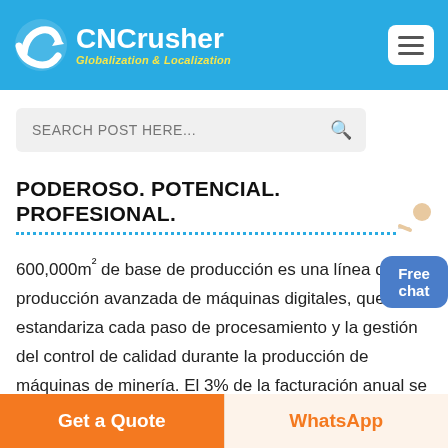[Figure (logo): CNCrusher logo with white wave/arrow icon and text 'CNCrusher' in white bold, tagline 'Globalization & Localization' in yellow italic, on blue background header with hamburger menu button on right]
[Figure (screenshot): Search bar with placeholder text 'SEARCH POST HERE...' and magnifier icon, on light gray rounded rectangle]
[Figure (illustration): Customer service representative figure above a blue rounded button with 'Free chat' text]
PODEROSO. POTENCIAL. PROFESIONAL.
600,000m² de base de producción es una línea de producción avanzada de máquinas digitales, que estandariza cada paso de procesamiento y la gestión del control de calidad durante la producción de máquinas de minería. El 3% de la facturación anual se
Get a Quote
WhatsApp